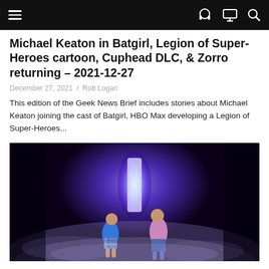Navigation bar with menu, headphone, monitor, and search icons
Michael Keaton in Batgirl, Legion of Super-Heroes cartoon, Cuphead DLC, & Zorro returning – 2021-12-27
December 27, 2021 / Rob Logan
This edition of the Geek News Brief includes stories about Michael Keaton joining the cast of Batgirl, HBO Max developing a Legion of Super-Heroes...
[Figure (photo): Two figures seen from behind walking toward a glowing portal or doorway in a misty blue/purple sci-fi scene — promotional image for Bill & Ted Face the Music]
Bill & Ted Face the Music – official trailer
June 9, 2020 / Rob Logan